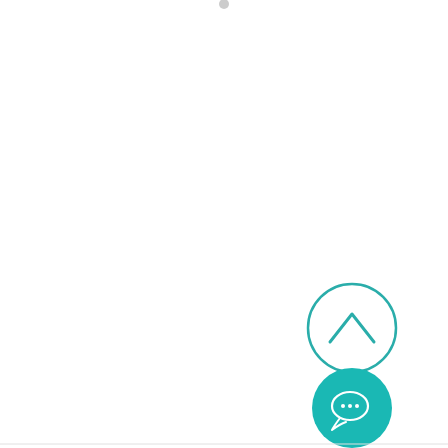[Figure (screenshot): UI screenshot showing a mostly white/blank page with a small grey circle icon at the very top center, a teal-outlined circle button with an upward chevron arrow in the lower right area, and a solid teal circle button with a speech bubble chat icon below it. A thin light grey horizontal line runs across the bottom of the page.]